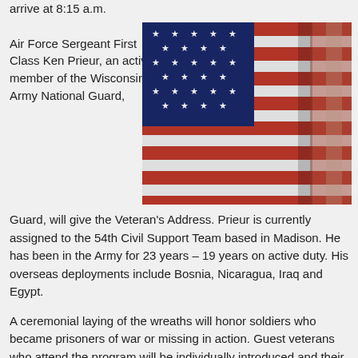arrive at 8:15 a.m.

Air Force Sergeant First Class Ken Prieur, an active member of the Wisconsin Army National Guard,
[Figure (photo): Close-up photograph of an American flag showing red and white stripes and a blue field with white stars, folded or draped.]
Guard, will give the Veteran’s Address. Prieur is currently assigned to the 54th Civil Support Team based in Madison. He has been in the Army for 23 years – 19 years on active duty. His overseas deployments include Bosnia, Nicaragua, Iraq and Egypt.
A ceremonial laying of the wreaths will honor soldiers who became prisoners of war or missing in action. Guest veterans who attend the program will be individually introduced and their military service recognized.